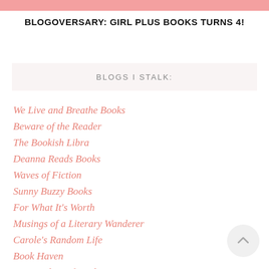BLOGOVERSARY: GIRL PLUS BOOKS TURNS 4!
BLOGS I STALK:
We Live and Breathe Books
Beware of the Reader
The Bookish Libra
Deanna Reads Books
Waves of Fiction
Sunny Buzzy Books
For What It's Worth
Musings of a Literary Wanderer
Carole's Random Life
Book Haven
Our Book Boyfriends
Whispering Chapters
Bookli…